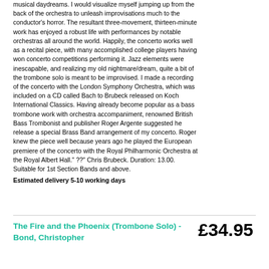musical daydreams. I would visualize myself jumping up from the back of the orchestra to unleash improvisations much to the conductor's horror. The resultant three-movement, thirteen-minute work has enjoyed a robust life with performances by notable orchestras all around the world. Happily, the concerto works well as a recital piece, with many accomplished college players having won concerto competitions performing it. Jazz elements were inescapable, and realizing my old nightmare/dream, quite a bit of the trombone solo is meant to be improvised. I made a recording of the concerto with the London Symphony Orchestra, which was included on a CD called Bach to Brubeck released on Koch International Classics. Having already become popular as a bass trombone work with orchestra accompaniment, renowned British Bass Trombonist and publisher Roger Argente suggested he release a special Brass Band arrangement of my concerto. Roger knew the piece well because years ago he played the European premiere of the concerto with the Royal Philharmonic Orchestra at the Royal Albert Hall." ??" Chris Brubeck. Duration: 13.00. Suitable for 1st Section Bands and above. Estimated delivery 5-10 working days
The Fire and the Phoenix (Trombone Solo) - Bond, Christopher
£34.95